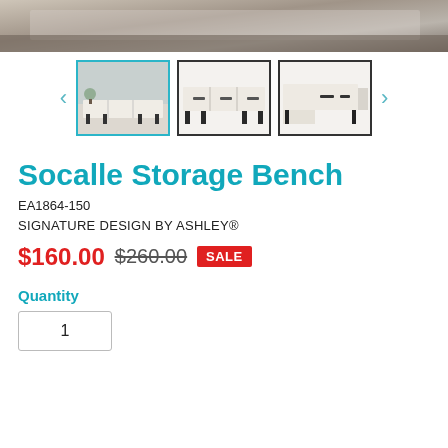[Figure (photo): Top portion of a room scene showing a rug and flooring, cropped at bottom]
[Figure (photo): Three product thumbnail images of the Socalle Storage Bench from different angles, with left/right navigation arrows. First thumbnail is selected with teal border.]
Socalle Storage Bench
EA1864-150
SIGNATURE DESIGN BY ASHLEY®
$160.00  $260.00  SALE
Quantity
1